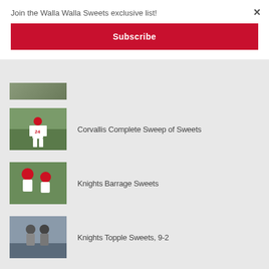Join the Walla Walla Sweets exclusive list!
Subscribe
×
Corvallis Complete Sweep of Sweets
Knights Barrage Sweets
Knights Topple Sweets, 9-2
Caulfield To Particpate in HR Derby